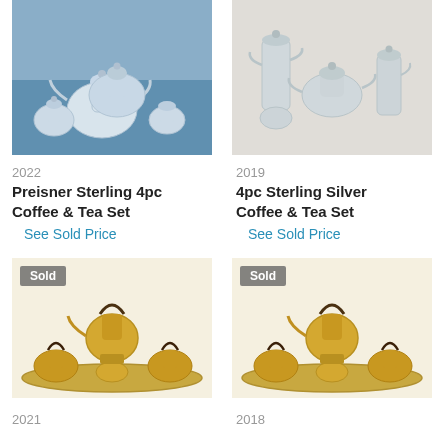[Figure (photo): Silver 4-5 piece sterling coffee and tea set on blue background]
2022
Preisner Sterling 4pc Coffee & Tea Set
See Sold Price
[Figure (photo): 4pc Sterling Silver Coffee and Tea Set on white background]
2019
4pc Sterling Silver Coffee & Tea Set
See Sold Price
[Figure (photo): Gold/brass tea set with tray, Sold badge]
[Figure (photo): Gold/brass tea set with tray, Sold badge]
2021
2018